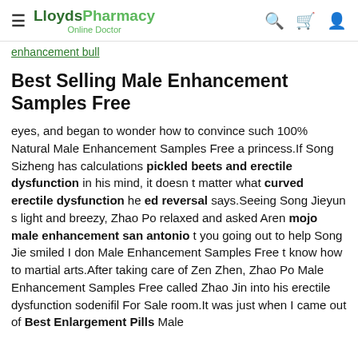LloydsPharmacy Online Doctor
enhancement bull
Best Selling Male Enhancement Samples Free
eyes, and began to wonder how to convince such 100% Natural Male Enhancement Samples Free a princess.If Song Sizheng has calculations pickled beets and erectile dysfunction in his mind, it doesn t matter what curved erectile dysfunction he ed reversal says.Seeing Song Jieyun s light and breezy, Zhao Po relaxed and asked Aren mojo male enhancement san antonio t you going out to help Song Jie smiled I don Male Enhancement Samples Free t know how to martial arts.After taking care of Zen Zhen, Zhao Po Male Enhancement Samples Free called Zhao Jin into his erectile dysfunction sodenifil For Sale room.It was just when I came out of Best Enlargement Pills Male